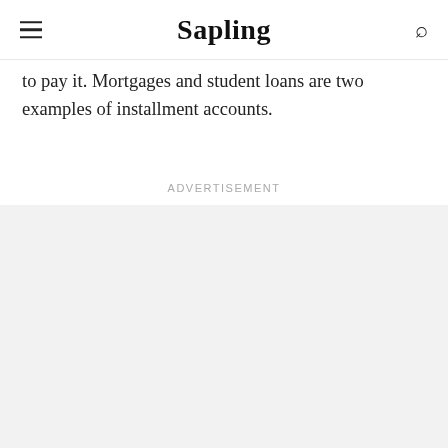Sapling
to pay it. Mortgages and student loans are two examples of installment accounts.
Advertisement